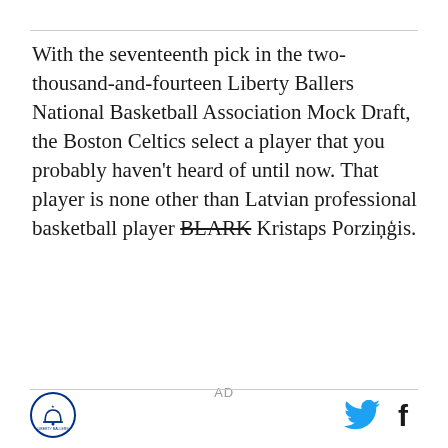With the seventeenth pick in the two-thousand-and-fourteen Liberty Ballers National Basketball Association Mock Draft, the Boston Celtics select a player that you probably haven't heard of until now. That player is none other than Latvian professional basketball player BLARK Kristaps Porzingis.
AD
[Liberty Ballers logo] [Twitter icon] [Facebook icon]